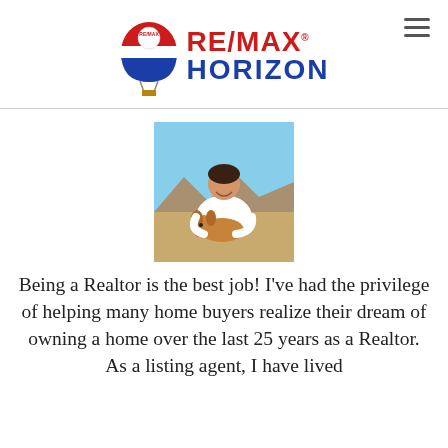RE/MAX HORIZON
[Figure (photo): Woman in white jacket holding a dog outdoors in a desert landscape with mountains in the background]
Being a Realtor is the best job! I've had the privilege of helping many home buyers realize their dream of owning a home over the last 25 years as a Realtor. As a listing agent, I have lived and worked in the Inland Empire for over a ti...